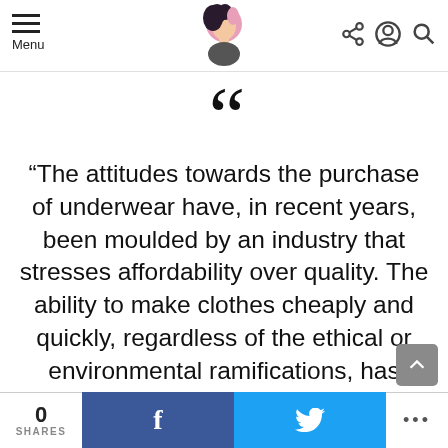Menu [hamburger icon] [logo] [share icon] [user icon] [search icon]
“The attitudes towards the purchase of underwear have, in recent years, been moulded by an industry that stresses affordability over quality. The ability to make clothes cheaply and quickly, regardless of the ethical or environmental ramifications, has been the driving force behind the fast fashion industry. In light of recent
0 SHARES | f | [twitter bird] | ...